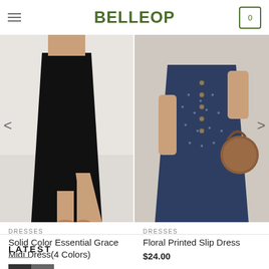BELLEOP
[Figure (photo): Woman wearing a black solid color midi dress with a slit, showing legs and sandals against a white/grey background]
[Figure (photo): Woman wearing a navy blue floral printed slip dress with buttons and carrying a brown circular crossbody bag]
DRESSES
Solid Color Essential Grace Midi Dress(4 Colors)
$24.60
DRESSES
Floral Printed Slip Dress
$24.00
LATEST